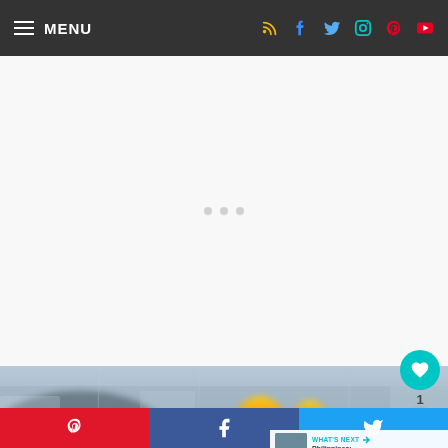MENU
[Figure (screenshot): White advertisement placeholder area with loading dots]
[Figure (photo): Blurry photo showing fire/flames with orange glow, outdoor scene with cold/icy background tones]
WHAT'S NEXT → Philippines: The Reason ...
Pinterest share button, Facebook share button, Twitter share button